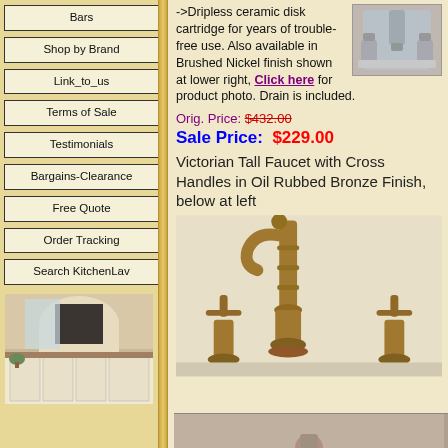Bars
Shop by Brand
Link_to_us
Terms of Sale
Testimonials
Bargains-Clearance
Free Quote
Order Tracking
Search KitchenLav
[Figure (photo): Bathroom vanity photo showing white cabinets and large mirror]
->Dripless ceramic disk cartridge for years of trouble-free use. Also available in Brushed Nickel finish shown at lower right, Click here for product photo. Drain is included.
[Figure (photo): Small inset photo of brushed nickel faucet]
Orig. Price: $432.00
Sale Price: $229.00
Victorian Tall Faucet with Cross Handles in Oil Rubbed Bronze Finish, below at left
[Figure (photo): Victorian tall faucet with cross handles in oil rubbed bronze finish]
[Figure (photo): Bottom partial view of another faucet product]